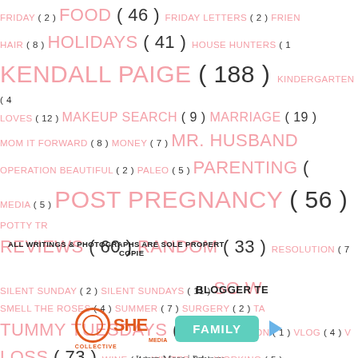FRIDAY (2) FOOD (46) FRIDAY LETTERS (2) FRIEN... HAIR (8) HOLIDAYS (41) HOUSE HUNTERS (1... KENDALL PAIGE (188) KINDERGARTEN (4... LOVES (12) MAKEUP SEARCH (9) MARRIAGE (19) MOM IT FORWARD (8) MONEY (7) MR. HUSBAND... OPERATION BEAUTIFUL (2) PALEO (5) PARENTING (... MEDIA (5) POST PREGNANCY (56) POTTY TR... REVIEWS (60) RANDOM (33) RESOLUTION (7... SILENT SUNDAY (2) SILENT SUNDAYS (11) SO W... SMELL THE ROSES (4) SUMMER (7) SURGERY (2) TA... TUMMY TUESDAYS (43) VACATION (1) VLOG (4) V... LOSS (73) WINE (4) WINTER (4) WORKING (5)
ALL WRITINGS & PHOTOGRAPHS ARE SOLE PROPERTY... COPIE...
BLOGGER TE...
[Figure (logo): SHE Media Collective logo with teal FAMILY button and play icon, followed by Learn More | Privacy links]